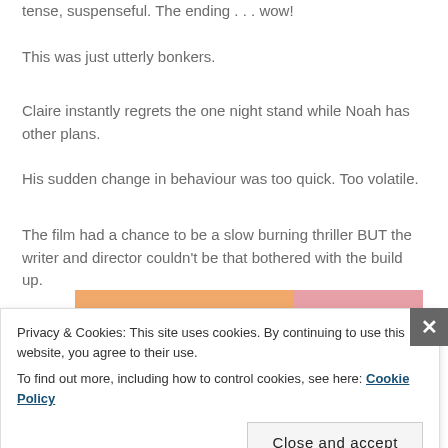tense, suspenseful. The ending . . . wow!
This was just utterly bonkers.
Claire instantly regrets the one night stand while Noah has other plans.
His sudden change in behaviour was too quick. Too volatile.
The film had a chance to be a slow burning thriller BUT the writer and director couldn't be that bothered with the build up.
[Figure (other): Partial horizontal bar chart strip visible behind cookie overlay, showing orange/peach and pink/rose colored bars]
Privacy & Cookies: This site uses cookies. By continuing to use this website, you agree to their use.
To find out more, including how to control cookies, see here: Cookie Policy
Close and accept